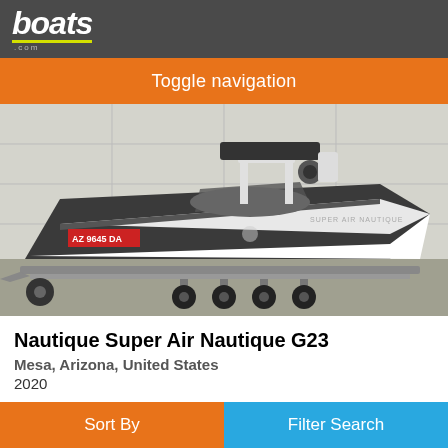boats.com
Toggle navigation
[Figure (photo): A Nautique Super Air Nautique G23 boat in dark grey and white color scheme, displayed on a multi-axle trailer in a parking lot. The boat has a tower with speakers and a wakeboard rack. Arizona registration plate AZ 9645 DA is visible on the hull.]
Nautique Super Air Nautique G23
Mesa, Arizona, United States
2020
Sort By   Filter Search